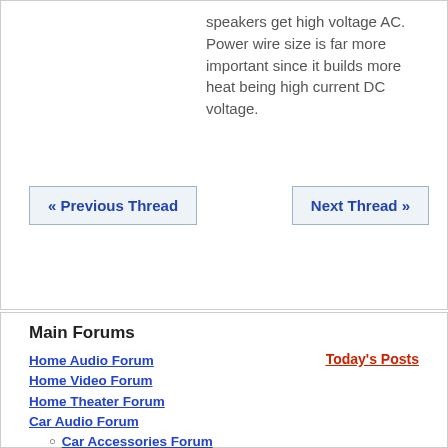speakers get high voltage AC. Power wire size is far more important since it builds more heat being high current DC voltage.
« Previous Thread
Next Thread »
Main Forums
Home Audio Forum
Home Video Forum
Home Theater Forum
Car Audio Forum
Car Accessories Forum
Car Amplifiers Forum
Car Disc Changers Forum
Today's Posts